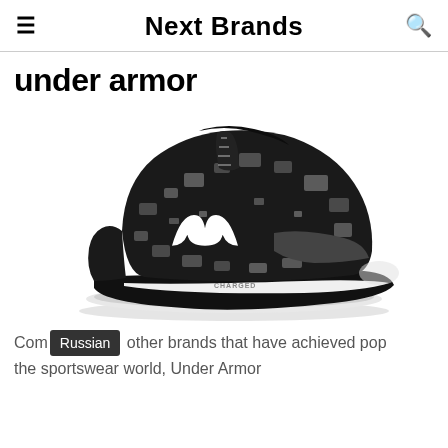Next Brands
under armor
[Figure (photo): Under Armour high-top basketball shoe in black and grey digital camouflage pattern with white Under Armour logo on the side, labeled CHARGED on the sole.]
Compared to other brands that have achieved popularity in the sportswear world, Under Armor